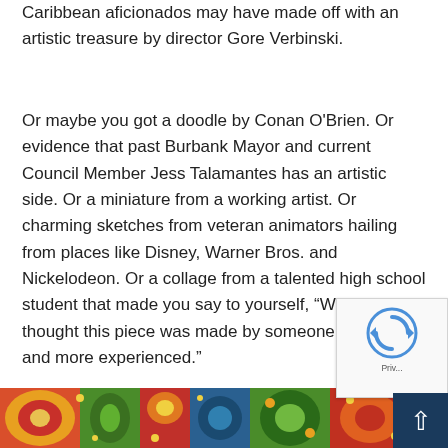Caribbean aficionados may have made off with an artistic treasure by director Gore Verbinski.
Or maybe you got a doodle by Conan O'Brien. Or evidence that past Burbank Mayor and current Council Member Jess Talamantes has an artistic side. Or a miniature from a working artist. Or charming sketches from veteran animators hailing from places like Disney, Warner Bros. and Nickelodeon. Or a collage from a talented high school student that made you say to yourself, “Wow. I thought this piece was made by someone a lot older and more experienced.”
[Figure (photo): Bottom strip of a colorful decorative/art image with bright reds, yellows, greens, and blues featuring ornate patterns]